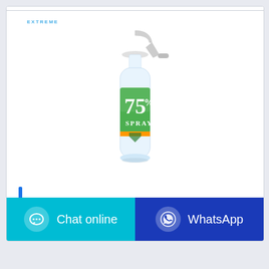[Figure (logo): Cleace brand logo in blue stylized text]
[Figure (photo): Clear plastic trigger spray bottle with green and orange label reading '75% SPRAY']
Meyers Counter Spray
Chat online
WhatsApp